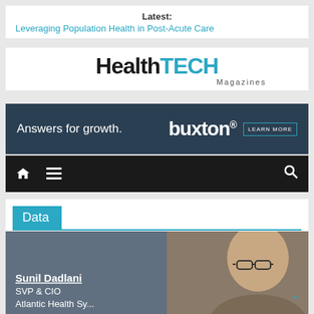Latest: Leveraging Population Health in Post-Acute Care
[Figure (logo): HealthTECH Magazines logo with Health in black bold and TECH in cyan bold, Magazines subtitle]
[Figure (photo): Buxton advertisement banner: Answers for growth. buxton® LEARN MORE on dark blue background]
[Figure (screenshot): Navigation bar with home icon, hamburger menu, and search icon on black background]
Data
[Figure (photo): Photo of Sunil Dadlani, SVP & CIO, Atlantic Health System, on dark grey background]